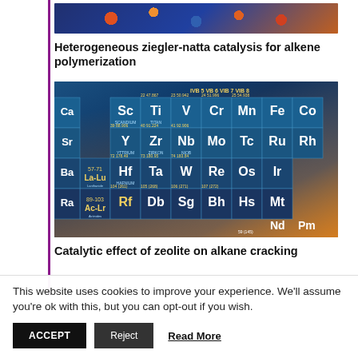[Figure (photo): Molecular structure visualization with colored atom spheres and bonds on dark background]
Heterogeneous ziegler-natta catalysis for alkene polymerization
[Figure (photo): Close-up photograph of a periodic table of elements with colorful cells, showing transition metals including Sc, Ti, V, Cr, Mn, Fe, Y, Zr, Nb, Mo, Tc, Ru, Hf, Ta, W, Re, Os, Rf, Db, Sg, Bh, Hs, with warm orange glow on the right side]
Catalytic effect of zeolite on alkane cracking
This website uses cookies to improve your experience. We'll assume you're ok with this, but you can opt-out if you wish.